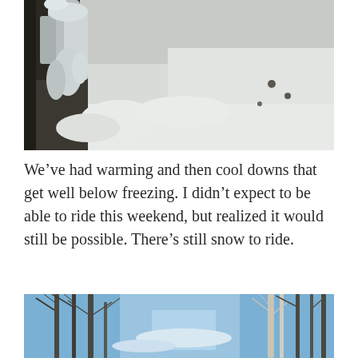[Figure (photo): Close-up photograph of frozen/icy waterfall or snow-covered rocks with ice formations in winter, white and grey tones]
We’ve had warming and then cool downs that get well below freezing. I didn’t expect to be able to ride this weekend, but realized it would still be possible. There’s still snow to ride.
[Figure (photo): Looking up through bare winter trees at a blue sky, birch and deciduous trees without leaves, winter scene]